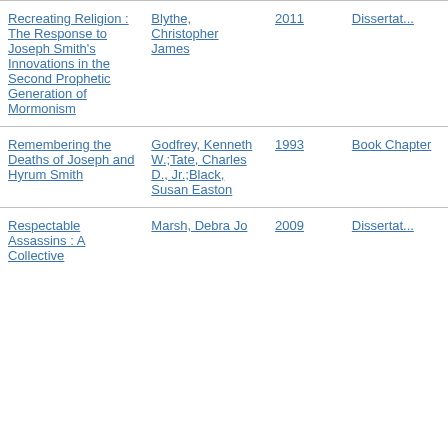| Title | Author | Year | Type |
| --- | --- | --- | --- |
| Recreating Religion : The Response to Joseph Smith's Innovations in the Second Prophetic Generation of Mormonism | Blythe, Christopher James | 2011 | Dissertation |
| Remembering the Deaths of Joseph and Hyrum Smith | Godfrey, Kenneth W.;Tate, Charles D., Jr.;Black, Susan Easton | 1993 | Book Chapter |
| Respectable Assassins : A Collective | Marsh, Debra Jo | 2009 | Dissertation |